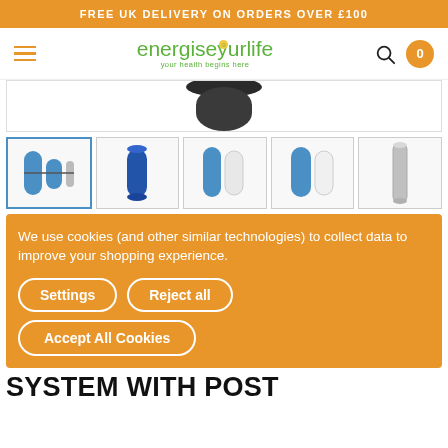FREE UK DELIVERY ON ORDERS OVER £100
[Figure (screenshot): Energise Your Life website navigation bar with hamburger menu, green logo text 'energiseyourlife - your health begins here', search icon, and orange cart badge showing 0]
[Figure (photo): Partial view of a black water filter system top portion]
[Figure (photo): Thumbnail gallery row showing 5 water filter product images: full system with blue cylinders, single blue cylinder, blue housing with white cartridge, blue housing with white cartridge side view, and silver UV unit]
We use cookies (and other similar technologies) to collect data to improve your shopping experience.
Settings
Reject all
Accept All Cookies
SYSTEM WITH POST